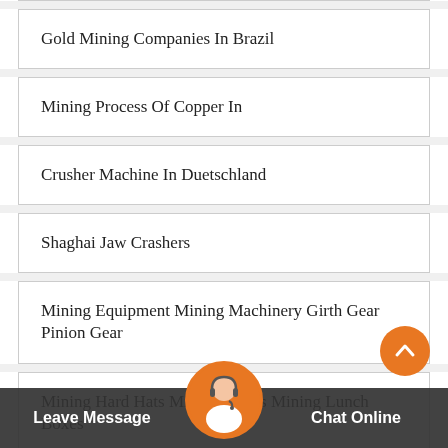Gold Mining Companies In Brazil
Mining Process Of Copper In
Crusher Machine In Duetschland
Shaghai Jaw Crashers
Mining Equipment Mining Machinery Girth Gear Pinion Gear
Mining Hard Hats Mining Lights Mining Lunch Boxes
Pictures Of A Gravel Crusher Stone Crusher Machine
Leave Message   Chat Online